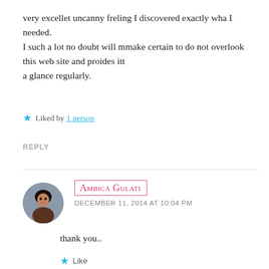very excellet uncanny freling I discovered exactly wha I needed.
I such a lot no doubt will mmake certain to do not overlook this web site and proides itt a glance regularly.
★ Liked by 1 person
REPLY
AMBICA GULATI
DECEMBER 11, 2014 AT 10:04 PM
thank you..
★ Like